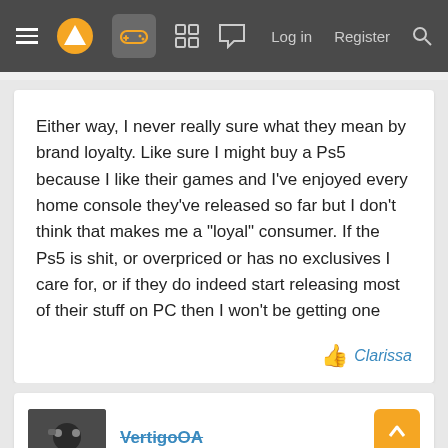Navigation bar with logo, controller icon, grid icon, chat icon, Log in, Register, Search
Either way, I never really sure what they mean by brand loyalty. Like sure I might buy a Ps5 because I like their games and I've enjoyed every home console they've released so far but I don't think that makes me a "loyal" consumer. If the Ps5 is shit, or overpriced or has no exclusives I care for, or if they do indeed start releasing most of their stuff on PC then I won't be getting one
Clarissa
VertigoOA
Banned
Jan 25, 2020
I'm surprised by the results. I would've expected Nintendo but